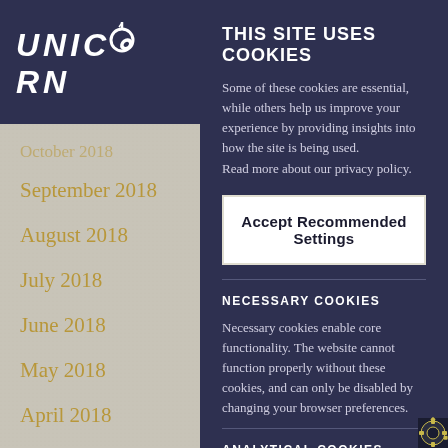[Figure (logo): Unicorn logo with stylized text on dark navy background]
October 2018
September 2018
August 2018
July 2018
June 2018
May 2018
April 2018
March 2018
February 2018
THIS SITE USES COOKIES
Some of these cookies are essential, while others help us improve your experience by providing insights into how the site is being used.
Read more about our privacy policy.
Accept Recommended Settings
NECESSARY COOKIES
Necessary cookies enable core functionality. The website cannot function properly without these cookies, and can only be disabled by changing your browser preferences.
ANALYTICAL COOKIES
Analytical Cookies help us improve our website by collecting and analysing traffic flow and pages